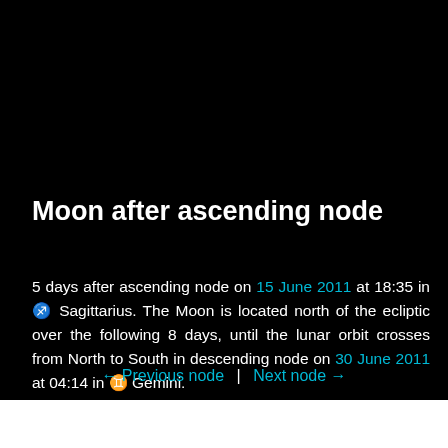Moon after ascending node
5 days after ascending node on 15 June 2011 at 18:35 in ♐ Sagittarius. The Moon is located north of the ecliptic over the following 8 days, until the lunar orbit crosses from North to South in descending node on 30 June 2011 at 04:14 in ♊ Gemini.
← Previous node  |  Next node →